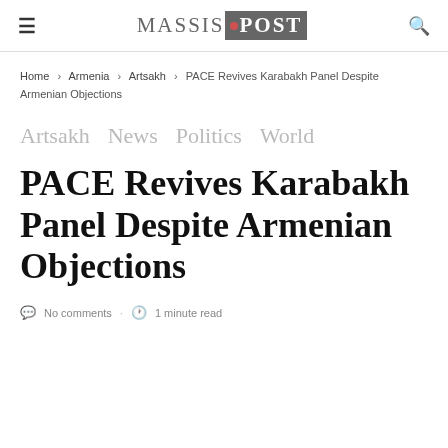MASSIS POST
Home > Armenia > Artsakh > PACE Revives Karabakh Panel Despite Armenian Objections
Artsakh   News   Politics   World
PACE Revives Karabakh Panel Despite Armenian Objections
No comments · 1 minute read